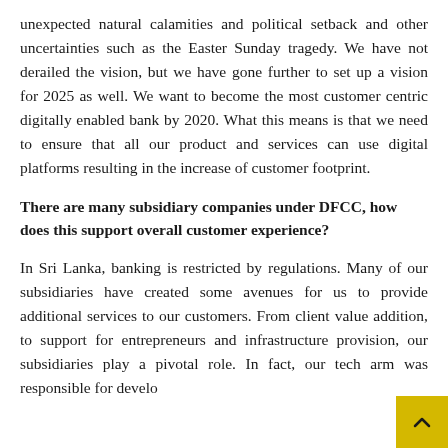unexpected natural calamities and political setback and other uncertainties such as the Easter Sunday tragedy. We have not derailed the vision, but we have gone further to set up a vision for 2025 as well. We want to become the most customer centric digitally enabled bank by 2020. What this means is that we need to ensure that all our product and services can use digital platforms resulting in the increase of customer footprint.
There are many subsidiary companies under DFCC, how does this support overall customer experience?
In Sri Lanka, banking is restricted by regulations. Many of our subsidiaries have created some avenues for us to provide additional services to our customers. From client value addition, to support for entrepreneurs and infrastructure provision, our subsidiaries play a pivotal role. In fact, our tech arm was responsible for develo...